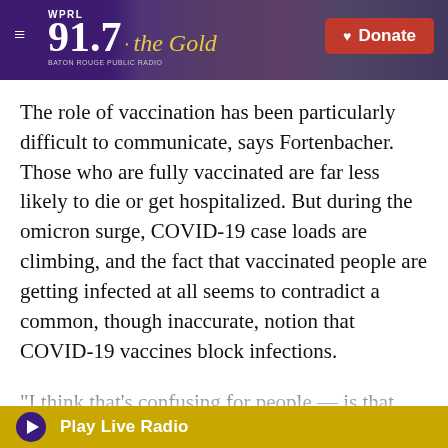[Figure (screenshot): WPRL 91.7 The Gold radio station website header with purple background, station logo, photo of a brick building with foliage, and a red Donate button]
The role of vaccination has been particularly difficult to communicate, says Fortenbacher. Those who are fully vaccinated are far less likely to die or get hospitalized. But during the omicron surge, COVID-19 case loads are climbing, and the fact that vaccinated people are getting infected at all seems to contradict a common, though inaccurate, notion that COVID-19 vaccines block infections.
"I think that's confusing for people — is that that initial message was that to get the vaccine, you're going to be OK," Fortenbacher says. When people hear about breakthrough infections, they incorrectly assume that this undermines the point
▶ Play Live Radio